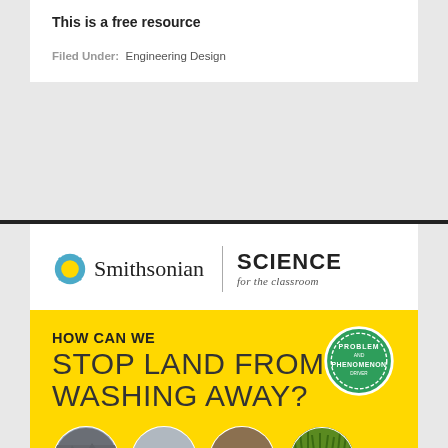This is a free resource
Filed Under: Engineering Design
[Figure (logo): Smithsonian Science for the Classroom logo with sun icon]
[Figure (infographic): Yellow infographic asking 'How Can We Stop Land From Washing Away?' with circular photo thumbnails of erosion and land imagery, and a green 'Problem and Phenomenon' badge]